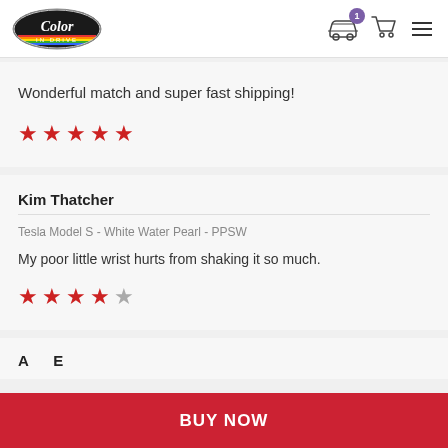[Figure (logo): Color In Drive logo — oval badge with stylized script 'Color' text and rainbow stripe, 'IN DRIVE' below]
Wonderful match and super fast shipping!
[Figure (other): 5 red stars rating]
Kim Thatcher
Tesla Model S - White Water Pearl - PPSW
My poor little wrist hurts from shaking it so much.
[Figure (other): 4 red stars and 1 gray star rating]